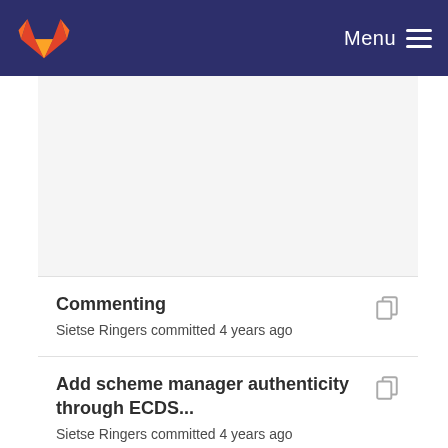Menu
Commenting
Sietse Ringers committed 4 years ago
Add scheme manager authenticity through ECDS...
Sietse Ringers committed 4 years ago